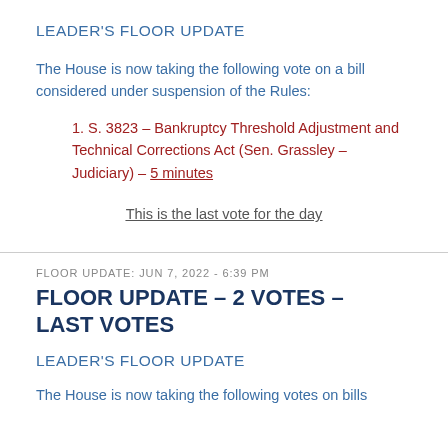LEADER'S FLOOR UPDATE
The House is now taking the following vote on a bill considered under suspension of the Rules:
1. S. 3823 – Bankruptcy Threshold Adjustment and Technical Corrections Act (Sen. Grassley – Judiciary) – 5 minutes
This is the last vote for the day
FLOOR UPDATE: JUN 7, 2022 - 6:39 PM
FLOOR UPDATE – 2 VOTES – LAST VOTES
LEADER'S FLOOR UPDATE
The House is now taking the following votes on bills